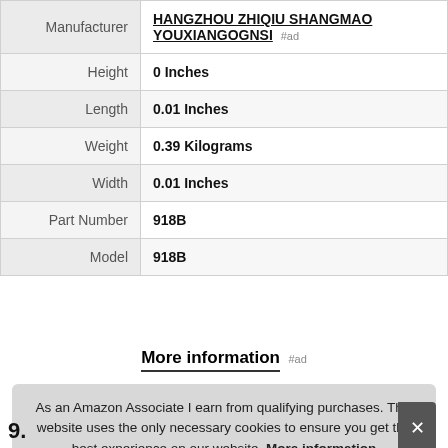| Attribute | Value |
| --- | --- |
| Manufacturer | HANGZHOU ZHIQIU SHANGMAO YOUXIANGOGNSI #ad |
| Height | 0 Inches |
| Length | 0.01 Inches |
| Weight | 0.39 Kilograms |
| Width | 0.01 Inches |
| Part Number | 918B |
| Model | 918B |
More information #ad
As an Amazon Associate I earn from qualifying purchases. This website uses the only necessary cookies to ensure you get the best experience on our website. More information
9.